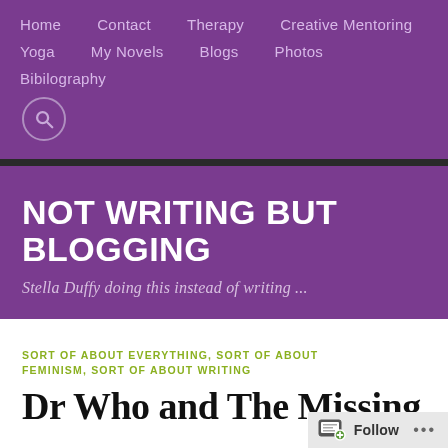Home  Contact  Therapy  Creative Mentoring  Yoga  My Novels  Blogs  Photos  Bibilography
NOT WRITING BUT BLOGGING
Stella Duffy doing this instead of writing ...
SORT OF ABOUT EVERYTHING, SORT OF ABOUT FEMINISM, SORT OF ABOUT WRITING
Dr Who and The Missing